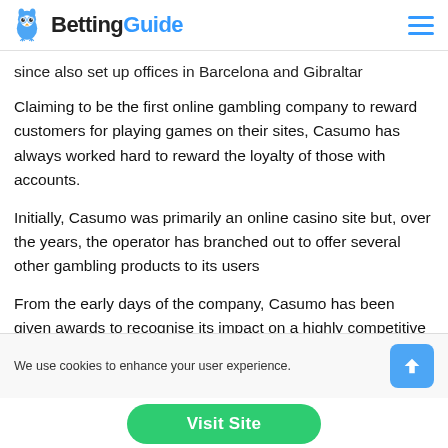BettingGuide
since also set up offices in Barcelona and Gibraltar
Claiming to be the first online gambling company to reward customers for playing games on their sites, Casumo has always worked hard to reward the loyalty of those with accounts.
Initially, Casumo was primarily an online casino site but, over the years, the operator has branched out to offer several other gambling products to its users
From the early days of the company, Casumo has been given awards to recognise its impact on a highly competitive industry
We use cookies to enhance your user experience.